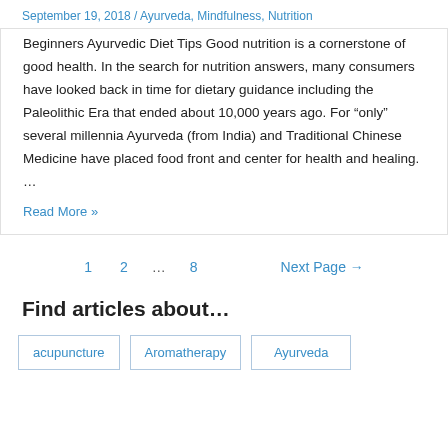September 19, 2018 / Ayurveda, Mindfulness, Nutrition
Beginners Ayurvedic Diet Tips Good nutrition is a cornerstone of good health. In the search for nutrition answers, many consumers have looked back in time for dietary guidance including the Paleolithic Era that ended about 10,000 years ago. For “only” several millennia Ayurveda (from India) and Traditional Chinese Medicine have placed food front and center for health and healing. …
Read More »
1
2
...
8
Next Page →
Find articles about…
acupuncture
Aromatherapy
Ayurveda